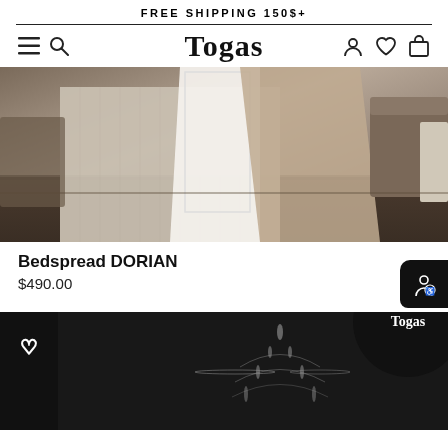FREE SHIPPING 150$+
[Figure (logo): Togas brand logo in serif font]
[Figure (photo): Bedspread DORIAN product photo showing beige/cream quilted bedspread draped over a bed with white and tan throw blankets on dark hardwood floor]
Bedspread DORIAN
$490.00
[Figure (photo): Dark background product photo with chandelier and Togas logo circle overlay, heart wishlist icon visible]